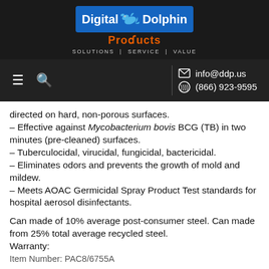[Figure (logo): Digital Dolphin Products logo with blue box, dolphin graphic, orange 'Products' text, and tagline 'SOLUTIONS | SERVICE | VALUE' on dark background]
info@ddp.us  (866) 923-9595
directed on hard, non-porous surfaces.
– Effective against Mycobacterium bovis BCG (TB) in two minutes (pre-cleaned) surfaces.
– Tuberculocidal, virucidal, fungicidal, bactericidal.
– Eliminates odors and prevents the growth of mold and mildew.
– Meets AOAC Germicidal Spray Product Test standards for hospital aerosol disinfectants.
Can made of 10% average post-consumer steel. Can made from 25% total average recycled steel.
Warranty:
Item Number: PAC8/6755A